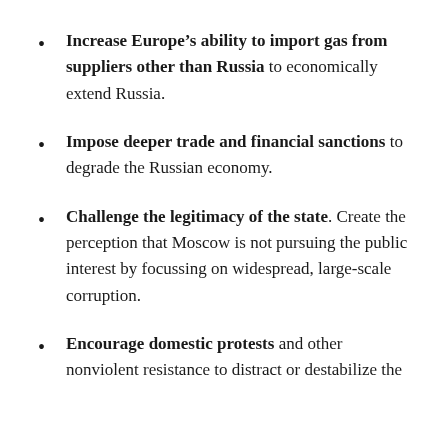Increase Europe's ability to import gas from suppliers other than Russia to economically extend Russia.
Impose deeper trade and financial sanctions to degrade the Russian economy.
Challenge the legitimacy of the state. Create the perception that Moscow is not pursuing the public interest by focussing on widespread, large-scale corruption.
Encourage domestic protests and other nonviolent resistance to distract or destabilize the